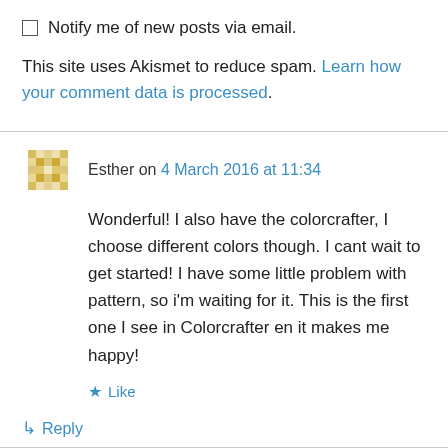Notify me of new posts via email.
This site uses Akismet to reduce spam. Learn how your comment data is processed.
Esther on 4 March 2016 at 11:34
Wonderful! I also have the colorcrafter, I choose different colors though. I cant wait to get started! I have some little problem with pattern, so i'm waiting for it. This is the first one I see in Colorcrafter en it makes me happy!
Like
Reply